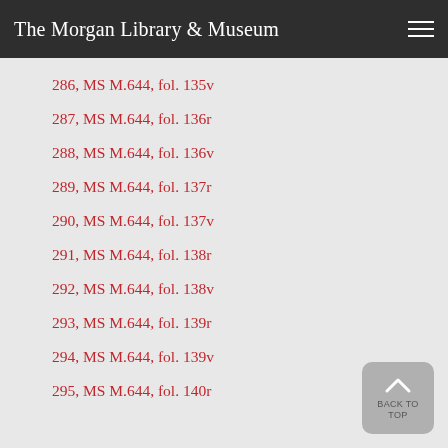The Morgan Library & Museum
286, MS M.644, fol. 135v
287, MS M.644, fol. 136r
288, MS M.644, fol. 136v
289, MS M.644, fol. 137r
290, MS M.644, fol. 137v
291, MS M.644, fol. 138r
292, MS M.644, fol. 138v
293, MS M.644, fol. 139r
294, MS M.644, fol. 139v
295, MS M.644, fol. 140r